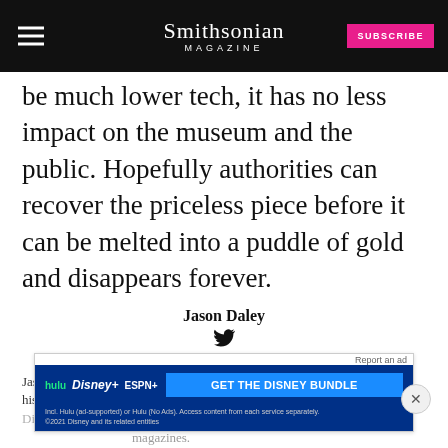Smithsonian MAGAZINE
be much lower tech, it has no less impact on the museum and the public. Hopefully authorities can recover the priceless piece before it can be melted into a puddle of gold and disappears forever.
Jason Daley
READ MORE
Jason Daley is a Madison, Wisconsin-based writer specializing in natural history, science, travel, and the environment. His work has appeared in Discover, Popular Science, Outside, Men's Journal, and other magazines.